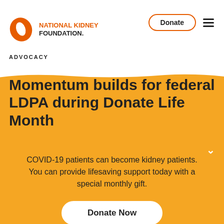Español
[Figure (logo): National Kidney Foundation logo with orange kidney shape icon and text NATIONAL KIDNEY FOUNDATION]
Donate
ADVOCACY
Momentum builds for federal LDPA during Donate Life Month
COVID-19 patients can become kidney patients. You can provide lifesaving support today with a special monthly gift.
Donate Now